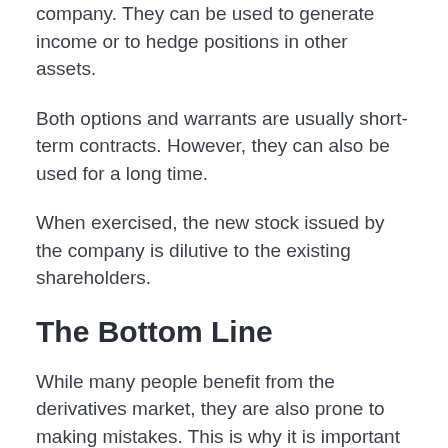company. They can be used to generate income or to hedge positions in other assets.
Both options and warrants are usually short-term contracts. However, they can also be used for a long time.
When exercised, the new stock issued by the company is dilutive to the existing shareholders.
The Bottom Line
While many people benefit from the derivatives market, they are also prone to making mistakes. This is why it is important to seek the